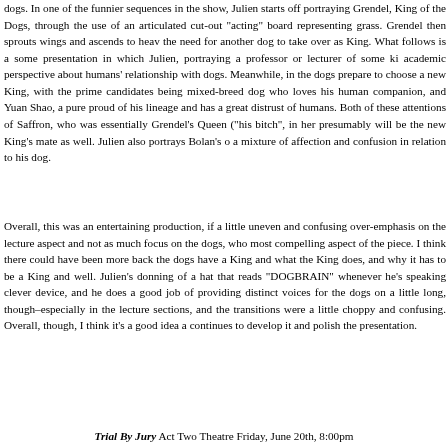dogs. In one of the funnier sequences in the show, Julien starts off portraying Grendel, King of the Dogs, through the use of an articulated cut-out "acting" board representing grass. Grendel then sprouts wings and ascends to heaven, the need for another dog to take over as King. What follows is a somewhat presentation in which Julien, portraying a professor or lecturer of some kind, academic perspective about humans' relationship with dogs. Meanwhile, in the the dogs prepare to choose a new King, with the prime candidates being a mixed-breed dog who loves his human companion, and Yuan Shao, a pure proud of his lineage and has a great distrust of humans. Both of these attentions of Saffron, who was essentially Grendel's Queen ("his bitch", in her presumably will be the new King's mate as well. Julien also portrays Bolan's o a mixture of affection and confusion in relation to his dog.
Overall, this was an entertaining production, if a little uneven and confusing over-emphasis on the lecture aspect and not as much focus on the dogs, who most compelling aspect of the piece. I think there could have been more back the dogs have a King and what the King does, and why it has to be a King and well. Julien's donning of a hat that reads "DOGBRAIN" whenever he's speaking clever device, and he does a good job of providing distinct voices for the dogs on a little long, though–especially in the lecture sections, and the transitions were a little choppy and confusing. Overall, though, I think it's a good idea a continues to develop it and polish the presentation.
Trial By Jury Act Two Theatre Friday, June 20th, 8:00pm